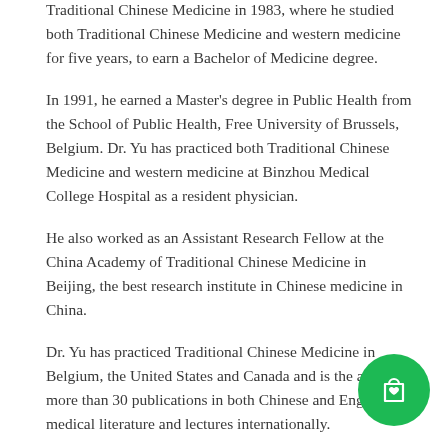Traditional Chinese Medicine in 1983, where he studied both Traditional Chinese Medicine and western medicine for five years, to earn a Bachelor of Medicine degree.
In 1991, he earned a Master's degree in Public Health from the School of Public Health, Free University of Brussels, Belgium. Dr. Yu has practiced both Traditional Chinese Medicine and western medicine at Binzhou Medical College Hospital as a resident physician.
He also worked as an Assistant Research Fellow at the China Academy of Traditional Chinese Medicine in Beijing, the best research institute in Chinese medicine in China.
Dr. Yu has practiced Traditional Chinese Medicine in Belgium, the United States and Canada and is the author of more than 30 publications in both Chinese and English medical literature and lectures internationally.
He is a Licensed Acupuncturist in the State of California, United States and a Registered Doctor of Traditional